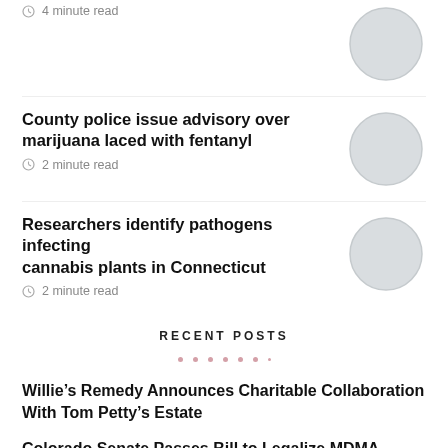County police issue advisory over marijuana laced with fentanyl
2 minute read
Researchers identify pathogens infecting cannabis plants in Connecticut
2 minute read
RECENT POSTS
Willie’s Remedy Announces Charitable Collaboration With Tom Petty’s Estate
Colorado Senate Passes Bill to Legalize MDMA Prescriptions